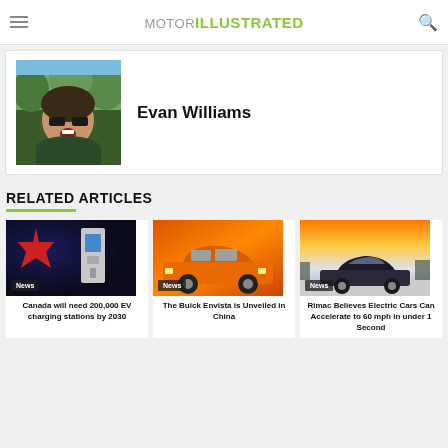MOTOR ILLUSTRATED
[Figure (photo): Author photo of Evan Williams, a man wearing sunglasses outdoors with trees in the background]
Evan Williams
RELATED ARTICLES
[Figure (photo): News article thumbnail: dark blue background with red maple leaf and a white EV charging station. News tag visible. Article: Canada will need 200,000 EV charging stations by 2030]
Canada will need 200,000 EV charging stations by 2030
[Figure (photo): News article thumbnail: orange background with orange Buick Envista SUV. News tag visible. Article: The Buick Envista is Unveiled in China]
The Buick Envista is Unveiled in China
[Figure (photo): News article thumbnail: sunset/dusk scene with sports car on road. News tag visible. Article: Rimac Believes Electric Cars Can Accelerate to 60 mph in under 1 Second]
Rimac Believes Electric Cars Can Accelerate to 60 mph in under 1 Second